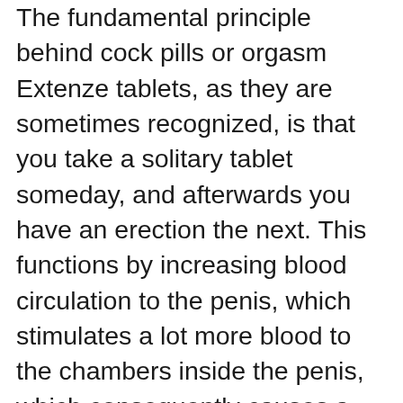The fundamental principle behind cock pills or orgasm Extenze tablets, as they are sometimes recognized, is that you take a solitary tablet someday, and afterwards you have an erection the next. This functions by increasing blood circulation to the penis, which stimulates a lot more blood to the chambers inside the penis, which consequently causes a larger erection. So if you take your day-to-day tablet together with your everyday supplement, you ought to have a bigger penis. There is proof that these tablets can likewise function by enhancing the launch of testosterone, which aids the body hold more blood, so the cock is bigger also. If you intend to acquire the real deal, you ought to want to acquire something called Extenze Direct, which is